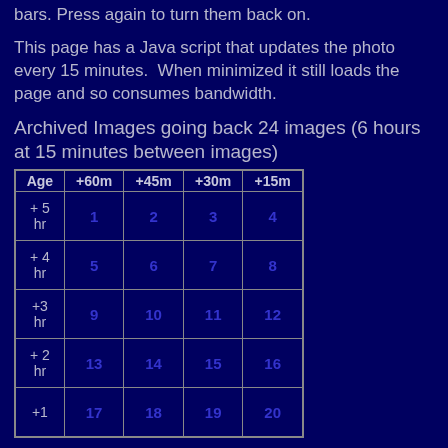bars. Press again to turn them back on.
This page has a Java script that updates the photo every 15 minutes.  When minimized it still loads the page and so consumes bandwidth.
Archived Images going back 24 images (6 hours at 15 minutes between images)
| Age | +60m | +45m | +30m | +15m |
| --- | --- | --- | --- | --- |
| + 5
hr | 1 | 2 | 3 | 4 |
| + 4
hr | 5 | 6 | 7 | 8 |
| +3
hr | 9 | 10 | 11 | 12 |
| + 2
hr | 13 | 14 | 15 | 16 |
| +1 | 17 | 18 | 19 | 20 |